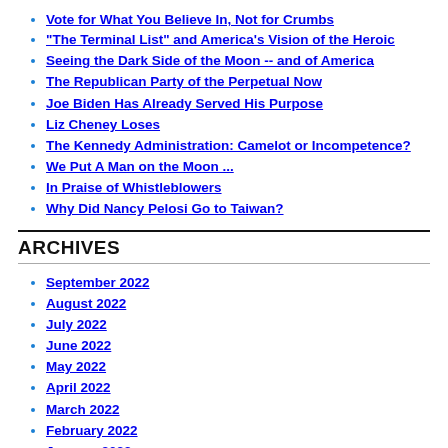Vote for What You Believe In, Not for Crumbs
"The Terminal List" and America's Vision of the Heroic
Seeing the Dark Side of the Moon -- and of America
The Republican Party of the Perpetual Now
Joe Biden Has Already Served His Purpose
Liz Cheney Loses
The Kennedy Administration: Camelot or Incompetence?
We Put A Man on the Moon ...
In Praise of Whistleblowers
Why Did Nancy Pelosi Go to Taiwan?
ARCHIVES
September 2022
August 2022
July 2022
June 2022
May 2022
April 2022
March 2022
February 2022
January 2022
December 2021